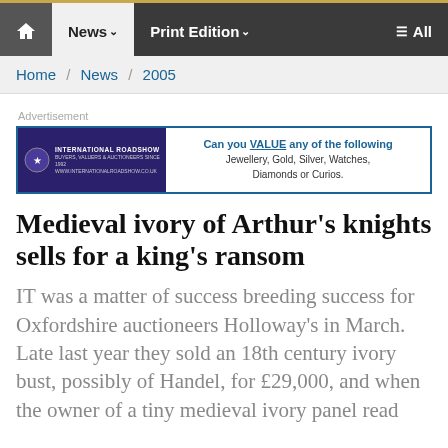News  Print Edition  All
Home / News / 2005
Advertisement
[Figure (other): International Roadshow advertisement banner: Can you VALUE any of the following: Jewellery, Gold, Silver, Watches, Diamonds or Curios.]
Medieval ivory of Arthur's knights sells for a king's ransom
IT was a matter of success breeding success for Oxfordshire auctioneers Holloway's in March. Late last year they sold an 18th century ivory bust, possibly of Handel, for £29,000, and when the owner of a tiny medieval ivory panel read